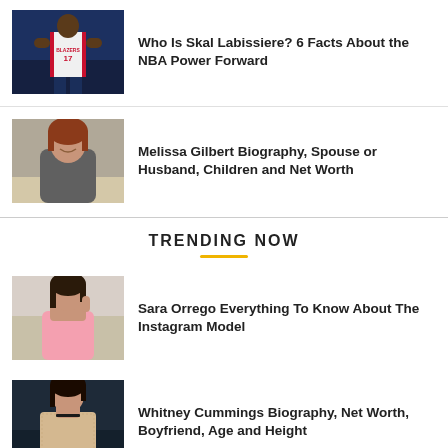[Figure (photo): Basketball player in Portland Trail Blazers #17 jersey]
Who Is Skal Labissiere? 6 Facts About the NBA Power Forward
[Figure (photo): Woman with red hair smiling, gray jacket]
Melissa Gilbert Biography, Spouse or Husband, Children and Net Worth
TRENDING NOW
[Figure (photo): Young woman in pink dress posing]
Sara Orrego Everything To Know About The Instagram Model
[Figure (photo): Woman in lace top at event]
Whitney Cummings Biography, Net Worth, Boyfriend, Age and Height